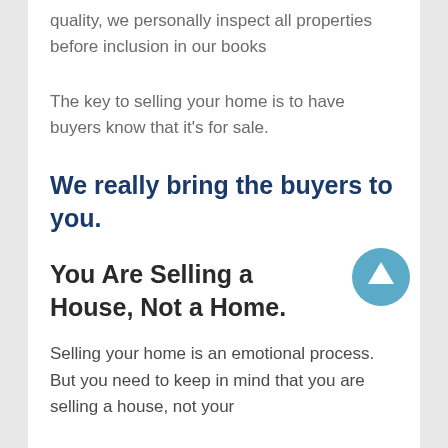quality, we personally inspect all properties before inclusion in our books
The key to selling your home is to have buyers know that it's for sale.
We really bring the buyers to you.
You Are Selling a House, Not a Home.
Selling your home is an emotional process. But you need to keep in mind that you are selling a house, not your home that's back...